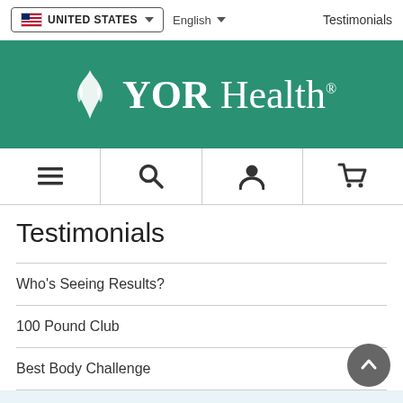UNITED STATES | English | Testimonials
[Figure (logo): YOR Health logo with flame/leaf icon on green background]
[Figure (illustration): Navigation icon bar with hamburger menu, search, user account, and shopping cart icons]
Testimonials
Who's Seeing Results?
100 Pound Club
Best Body Challenge
Professional Spotlight
Ali Khazaeizadeh, MD
Bahar Sedarati, MD
Billy "The Kid" Dib